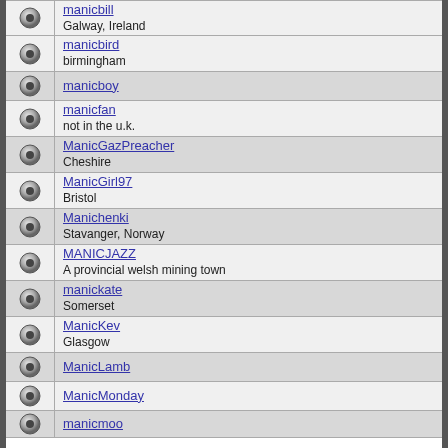manicbill
Galway, Ireland
manicbird
birmingham
manicboy
manicfan
not in the u.k.
ManicGazPreacher
Cheshire
ManicGirl97
Bristol
Manichenki
Stavanger, Norway
MANICJAZZ
A provincial welsh mining town
manickate
Somerset
ManicKev
Glasgow
ManicLamb
ManicMonday
manicmoo